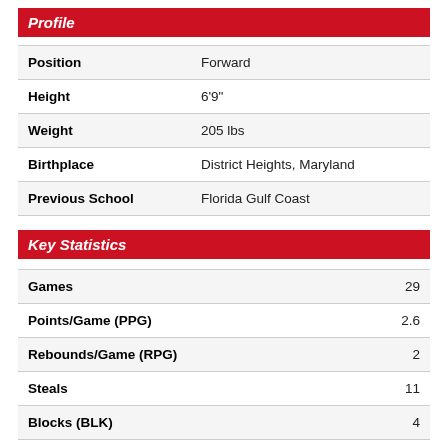Profile
|  |  |
| --- | --- |
| Position | Forward |
| Height | 6'9" |
| Weight | 205 lbs |
| Birthplace | District Heights, Maryland |
| Previous School | Florida Gulf Coast |
Key Statistics
|  |  |
| --- | --- |
| Games | 29 |
| Points/Game (PPG) | 2.6 |
| Rebounds/Game (RPG) | 2 |
| Steals | 11 |
| Blocks (BLK) | 4 |
| Assists/Game (APG) | 0.6 |